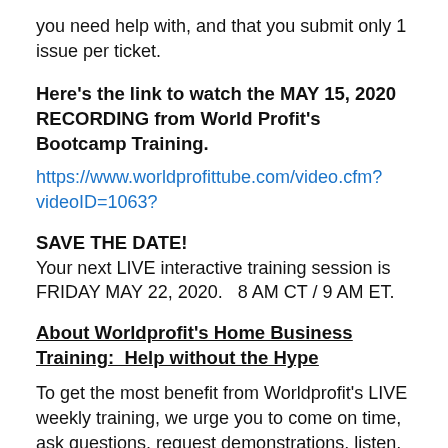you need help with, and that you submit only 1 issue per ticket.
Here's the link to watch the MAY 15, 2020 RECORDING from World Profit's Bootcamp Training.
https://www.worldprofittube.com/video.cfm?videoID=1063?
SAVE THE DATE!
Your next LIVE interactive training session is FRIDAY MAY 22, 2020.   8 AM CT / 9 AM ET.
About Worldprofit's Home Business Training:  Help without the Hype
To get the most benefit from Worldprofit's LIVE weekly training, we urge you to come on time, ask questions, request demonstrations, listen,